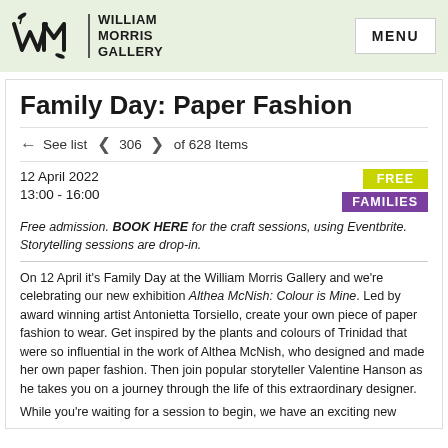WILLIAM MORRIS GALLERY | MENU
Family Day: Paper Fashion
← See list  ‹  306  ›  of 628 Items
12 April 2022
13:00 - 16:00
FREE
FAMILIES
Free admission. BOOK HERE for the craft sessions, using Eventbrite. Storytelling sessions are drop-in.
On 12 April it's Family Day at the William Morris Gallery and we're celebrating our new exhibition Althea McNish: Colour is Mine. Led by award winning artist Antonietta Torsiello, create your own piece of paper fashion to wear. Get inspired by the plants and colours of Trinidad that were so influential in the work of Althea McNish, who designed and made her own paper fashion. Then join popular storyteller Valentine Hanson as he takes you on a journey through the life of this extraordinary designer.
While you're waiting for a session to begin, we have an exciting new